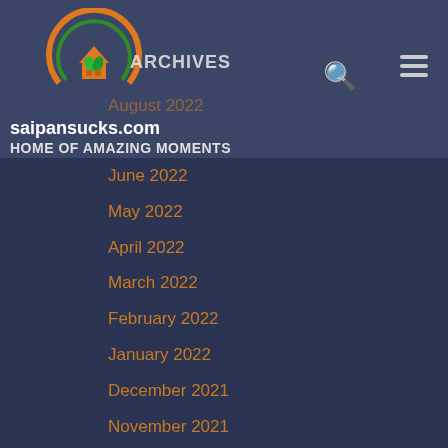saipansucks.com - HOME OF AMAZING MOMENTS
ARCHIVES
August 2022
June 2022
May 2022
April 2022
March 2022
February 2022
January 2022
December 2021
November 2021
October 2021
September 2021
August 2021